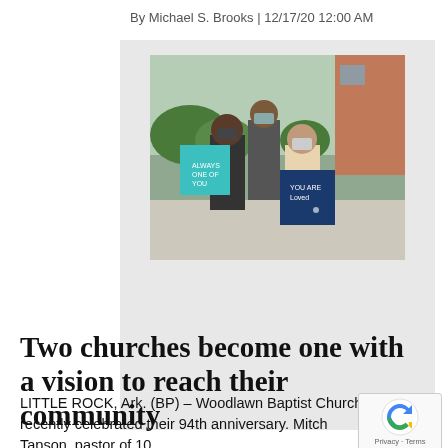By Michael S. Brooks | 12/17/20 12:00 AM
[Figure (photo): Three people wearing face masks standing outside a brick building with greenery, holding teal and dark blue signs]
Two churches become one with a vision to reach their community
LITTLE ROCK, Ark. (BP) – Woodlawn Baptist Church recently celebrated their 94th anniversary. Mitch Tapson, pastor of 10